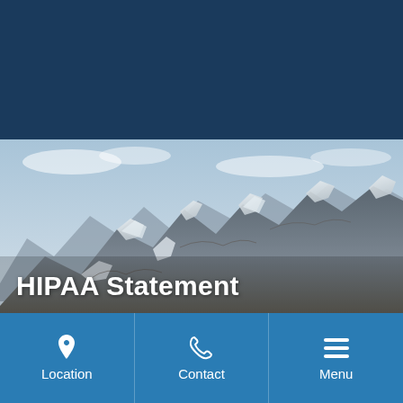[Figure (photo): Dark navy header bar at top, followed by a landscape photograph of snow-dusted rocky mountains under a partly cloudy sky, with the title 'HIPAA Statement' overlaid in bold white text on the lower-left portion of the image.]
HIPAA Statement
[Figure (infographic): Bottom navigation bar with three equal-width sections: Location (map pin icon), Contact (phone icon), Menu (hamburger icon), all on a medium blue background with white icons and labels.]